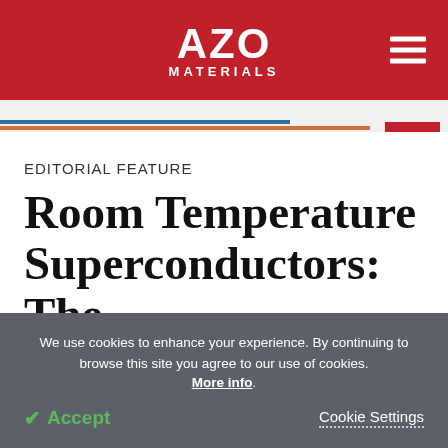[Figure (logo): AZO Materials logo — white text on red background with hamburger menu icon]
EDITORIAL FEATURE
Room Temperature Superconductors: The
We use cookies to enhance your experience. By continuing to browse this site you agree to our use of cookies. More info.
Accept   Cookie Settings